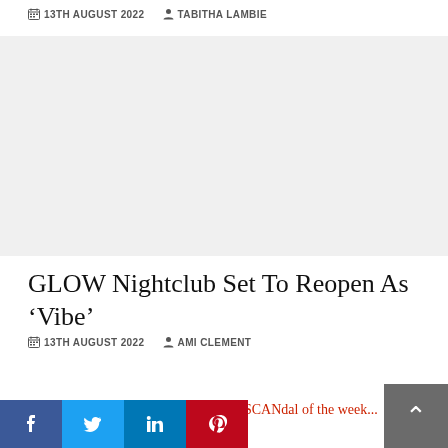13TH AUGUST 2022   TABITHA LAMBIE
[Figure (photo): Article image placeholder (light grey area)]
GLOW Nightclub Set To Reopen As 'Vibe'
13TH AUGUST 2022   AMI CLEMENT
Student Welfare: Access to First-Aid
SCANdal of the week...
[Figure (infographic): Social share bar with Facebook, Twitter, LinkedIn, Pinterest buttons]